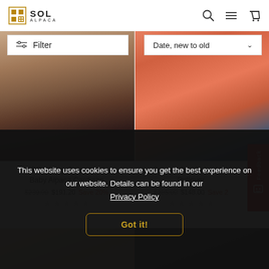SOL ALPACA — header navigation with search, menu, and cart icons
[Figure (screenshot): Filter button and Date new to old sort dropdown]
[Figure (photo): Left product photo: ABBA Long Colourblock Baby Alpaca Cardigan in brown/grey tones]
[Figure (photo): Right product photo: Square One Baby Alpaca Pullover in orange/coral]
ABBA Long Colourblock Baby Alpaca Cardigan
$239.00  $191.20  Save 20%
Square One Baby Alpaca Pullover
$185.00  $148.00  Save 2...
[Figure (photo): Bottom left partial product photo showing blonde model]
[Figure (photo): Bottom right partial product photo showing dark-haired model]
This website uses cookies to ensure you get the best experience on our website. Details can be found in our Privacy Policy
Got it!